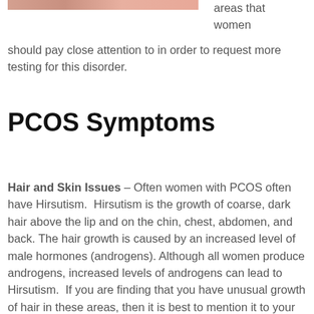[Figure (photo): Partial image strip at top of page showing people, cropped]
areas that women should pay close attention to in order to request more testing for this disorder.
PCOS Symptoms
Hair and Skin Issues – Often women with PCOS often have Hirsutism. Hirsutism is the growth of coarse, dark hair above the lip and on the chin, chest, abdomen, and back. The hair growth is caused by an increased level of male hormones (androgens). Although all women produce androgens, increased levels of androgens can lead to Hirsutism. If you are finding that you have unusual growth of hair in these areas, then it is best to mention it to your doctor and ask about PCOS. In addition to hair